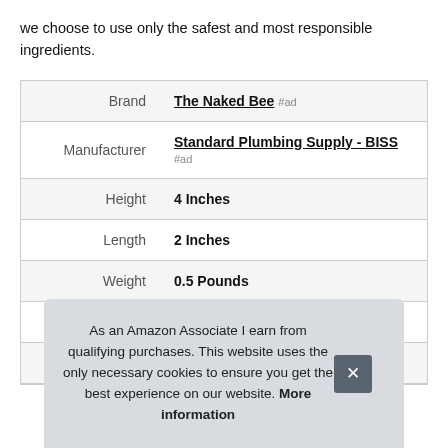we choose to use only the safest and most responsible ingredients.
|  |  |
| --- | --- |
| Brand | The Naked Bee #ad |
| Manufacturer | Standard Plumbing Supply - BISS #ad |
| Height | 4 Inches |
| Length | 2 Inches |
| Weight | 0.5 Pounds |
| Width | 4 Inches |
| Part Number | NBRB-O |
As an Amazon Associate I earn from qualifying purchases. This website uses the only necessary cookies to ensure you get the best experience on our website. More information